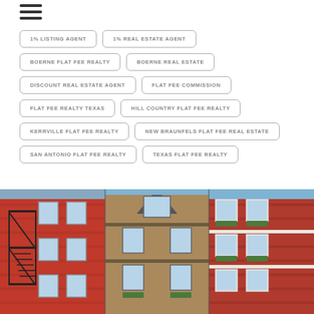1% LISTING AGENT
1% REAL ESTATE AGENT
BOERNE FLAT FEE REALTY
BOERNE REAL ESTATE
DISCOUNT REAL ESTATE AGENT
FLAT FEE COMMISSION
FLAT FEE REALTY TEXAS
HILL COUNTRY FLAT FEE REALTY
KERRVILLE FLAT FEE REALTY
NEW BRAUNFELS FLAT FEE REAL ESTATE
SAN ANTONIO FLAT FEE REALTY
TEXAS FLAT FEE REALTY
[Figure (photo): Collage of three brick residential/townhouse buildings side by side: left building is a red brick building with black fire escape stairs; center building is a narrower brownish/tan building with a peaked dormer window and flower boxes; right building is a red brick building with white window trim and flower boxes.]